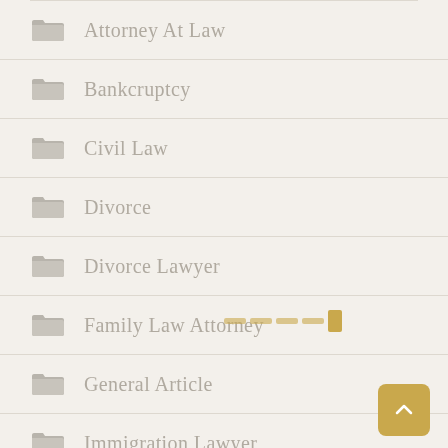Attorney At Law
Bankcruptcy
Civil Law
Divorce
Divorce Lawyer
Family Law Attorney
General Article
Immigration Lawyer